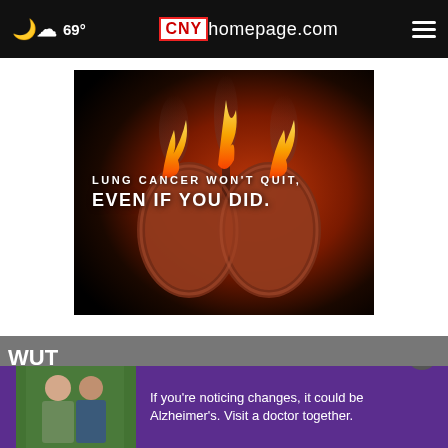69° CNYhomepage.com
[Figure (illustration): Lung cancer awareness advertisement showing burning human lungs against a dark red background with text: LUNG CANCER WON'T QUIT, EVEN IF YOU DID.]
WUTVide
[Figure (photo): Two men standing together outdoors]
If you're noticing changes, it could be Alzheimer's. Visit a doctor together.